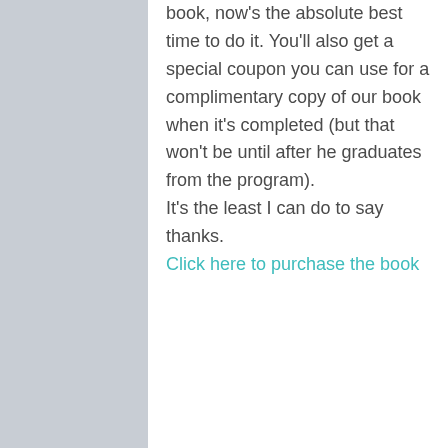book, now's the absolute best time to do it. You'll also get a special coupon you can use for a complimentary copy of our book when it's completed (but that won't be until after he graduates from the program).

It's the least I can do to say thanks.
Click here to purchase the book